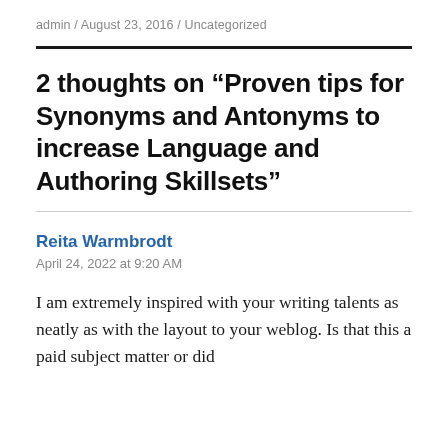admin / August 23, 2016 / Uncategorized
2 thoughts on “Proven tips for Synonyms and Antonyms to increase Language and Authoring Skillsets”
Reita Warmbrodt
April 24, 2022 at 9:20 AM
I am extremely inspired with your writing talents as neatly as with the layout to your weblog. Is that this a paid subject matter or did